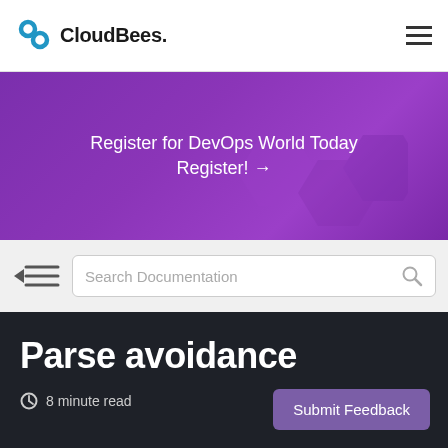CloudBees.
Register for DevOps World Today
Register! →
Search Documentation
Parse avoidance
8 minute read
Submit Feedback